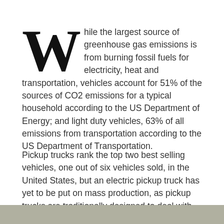While the largest source of greenhouse gas emissions is from burning fossil fuels for electricity, heat and transportation, vehicles account for 51% of the sources of CO2 emissions for a typical household according to the US Department of Energy; and light duty vehicles, 63% of all emissions from transportation according to the US Department of Transportation.
Pickup trucks rank the top two best selling vehicles, one out of six vehicles sold, in the United States, but an electric pickup truck has yet to be put on mass production, as pickup trucks are traditionally designed to deal with heavy loads and tough terrain that is a tough challenge to heavy batteries.
[Figure (photo): Partial image visible at bottom of page, appears to be a road or terrain scene.]